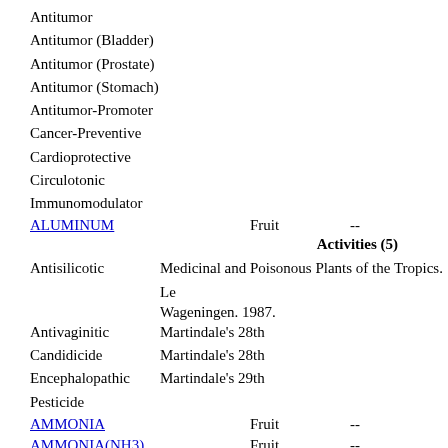Antitumor
Antitumor (Bladder)
Antitumor (Prostate)
Antitumor (Stomach)
Antitumor-Promoter
Cancer-Preventive
Cardioprotective
Circulotonic
Immunomodulator
ALUMINUM   Fruit   --
Activities (5)
Antisilicotic   Medicinal and Poisonous Plants of the Tropics. Le Wageningen. 1987.
Antivaginitic   Martindale's 28th
Candidicide   Martindale's 28th
Encephalopathic   Martindale's 29th
Pesticide
AMMONIA   Fruit   --
AMMONIA(NH3)   Fruit   --
ANTHERAXANTHIN   Fruit   0.5